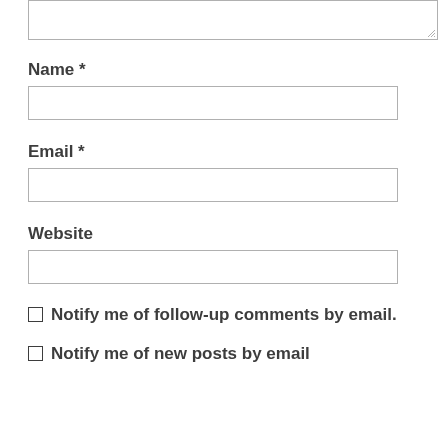[Figure (screenshot): A text area input box (partially visible at top of page, showing only bottom portion with resize handle)]
Name *
[Figure (screenshot): Empty text input field for Name]
Email *
[Figure (screenshot): Empty text input field for Email]
Website
[Figure (screenshot): Empty text input field for Website]
Notify me of follow-up comments by email.
Notify me of new posts by email.